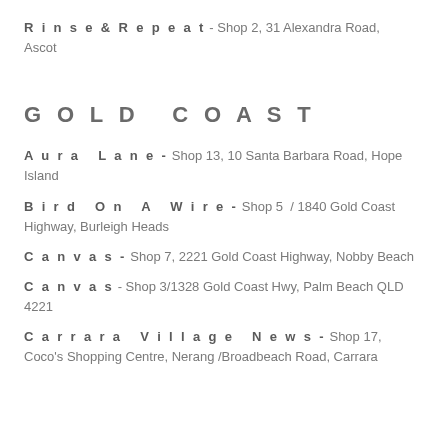Rinse & Repeat - Shop 2, 31 Alexandra Road, Ascot
GOLD COAST
Aura Lane - Shop 13, 10 Santa Barbara Road, Hope Island
Bird On A Wire - Shop 5 / 1840 Gold Coast Highway, Burleigh Heads
Canvas - Shop 7, 2221 Gold Coast Highway, Nobby Beach
Canvas - Shop 3/1328 Gold Coast Hwy, Palm Beach QLD 4221
Carrara Village News - Shop 17, Coco's Shopping Centre, Nerang /Broadbeach Road, Carrara